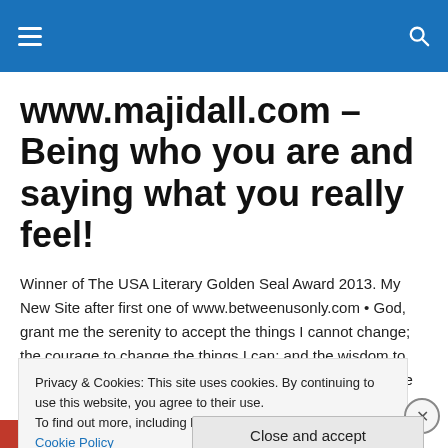Navigation header with hamburger menu and search icon
www.majidall.com – Being who you are and saying what you really feel!
Winner of The USA Literary Golden Seal Award 2013. My New Site after first one of www.betweenusonly.com • God, grant me the serenity to accept the things I cannot change; the courage to change the things I can; and the wisdom to know the difference – Reinhold Niebuhr – • Be who you are and say what you feel, because those who mind don't
Privacy & Cookies: This site uses cookies. By continuing to use this website, you agree to their use.
To find out more, including how to control cookies, see here: Cookie Policy
Close and accept